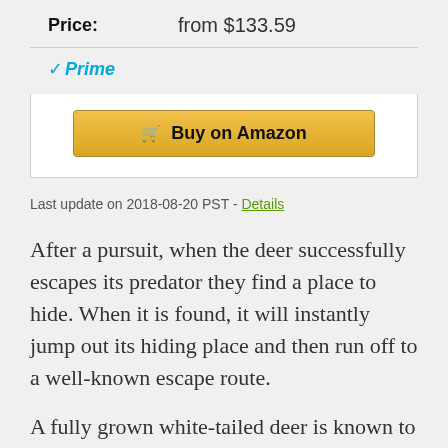| Price: | from $133.59 |
| ✓Prime |  |
[Figure (other): Buy on Amazon button with shopping cart icon]
Last update on 2018-08-20 PST - Details
After a pursuit, when the deer successfully escapes its predator they find a place to hide. When it is found, it will instantly jump out its hiding place and then run off to a well-known escape route.
A fully grown white-tailed deer is known to have a top speed of 30 miles